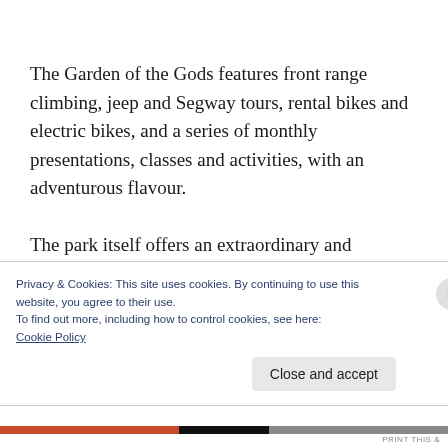The Garden of the Gods features front range climbing, jeep and Segway tours, rental bikes and electric bikes, and a series of monthly presentations, classes and activities, with an adventurous flavour.
The park itself offers an extraordinary and
Privacy & Cookies: This site uses cookies. By continuing to use this website, you agree to their use.
To find out more, including how to control cookies, see here:
Cookie Policy
Close and accept